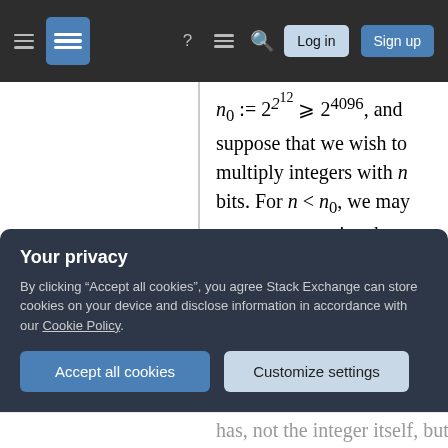Stack Exchange navigation bar with hamburger menu, logo, help icon, chat icon, search icon, Log in button, Sign up button
n_0 := 2^{2^{12}} >= 2^{4096}, and suppose that we wish to multiply integers with n bits. For n < n_0, we may use any convenient base-case multiplication algorithm, such as the classical O(n^2) algorithm. For n >= n_0 we will describe a recursive algorithm that reduces the problem to a collection of multiplication problems of size roughly n^{1/d}. We will show that this algorithm achieves M(n) = O(n log n), provided that d >= 1729.
Your privacy
By clicking "Accept all cookies", you agree Stack Exchange can store cookies on your device and disclose information in accordance with our Cookie Policy.
Accept all cookies
Customize settings
has, not the integer itself, but even this number